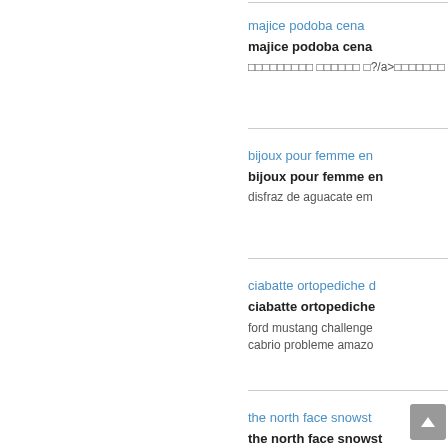majice podoba cena
majice podoba cena
□□□□□□□□□ □□□□□□ □?/a>□□□□□□□
bijoux pour femme en...
bijoux pour femme en...
disfraz de aguacate em...
ciabatte ortopediche d...
ciabatte ortopediche ...
ford mustang challenger... cabrio probleme amazo...
the north face snowst...
the north face snowst...